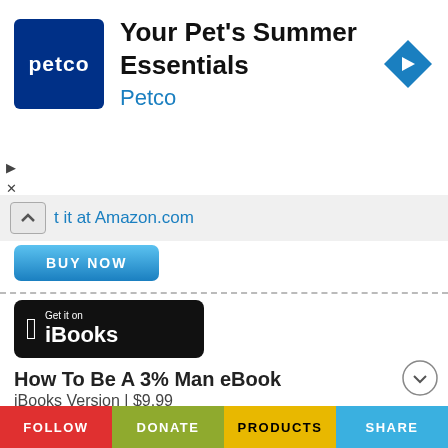[Figure (screenshot): Petco advertisement banner with blue Petco logo, title 'Your Pet's Summer Essentials', brand name 'Petco' in blue, and a blue navigation arrow icon on the right]
t it at Amazon.com
[Figure (screenshot): BUY NOW button with blue gradient background]
[Figure (logo): Get it on iBooks black badge with Apple logo]
How To Be A 3% Man eBook
iBooks Version | $9.99
Get it at iBooks
[Figure (screenshot): BUY NOW button with blue gradient background]
[Figure (logo): Lulu cursive logo]
FOLLOW   DONATE   PRODUCTS   SHARE